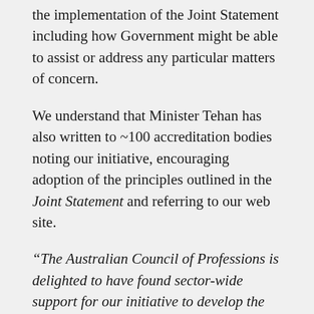the implementation of the Joint Statement including how Government might be able to assist or address any particular matters of concern.
We understand that Minister Tehan has also written to ~100 accreditation bodies noting our initiative, encouraging adoption of the principles outlined in the Joint Statement and referring to our web site.
“The Australian Council of Professions is delighted to have found sector-wide support for our initiative to develop the Higher Education COVID-19 Joint Statement” said ACoP President Klaus Veil. “This broad consensus ensures that the